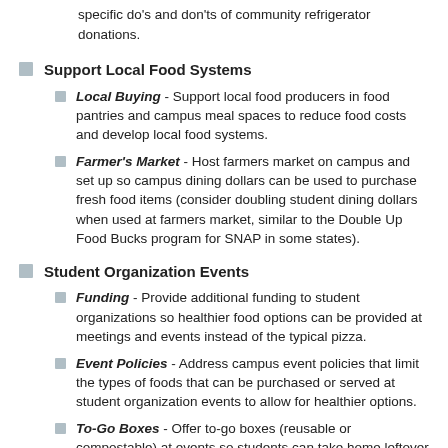specific do's and don'ts of community refrigerator donations.
Support Local Food Systems
Local Buying - Support local food producers in food pantries and campus meal spaces to reduce food costs and develop local food systems.
Farmer's Market - Host farmers market on campus and set up so campus dining dollars can be used to purchase fresh food items (consider doubling student dining dollars when used at farmers market, similar to the Double Up Food Bucks program for SNAP in some states).
Student Organization Events
Funding - Provide additional funding to student organizations so healthier food options can be provided at meetings and events instead of the typical pizza.
Event Policies - Address campus event policies that limit the types of foods that can be purchased or served at student organization events to allow for healthier options.
To-Go Boxes - Offer to-go boxes (reusable or compostable) at events so students can take home leftover food items and reduce food waste. An ideal welcome week giveaway would be